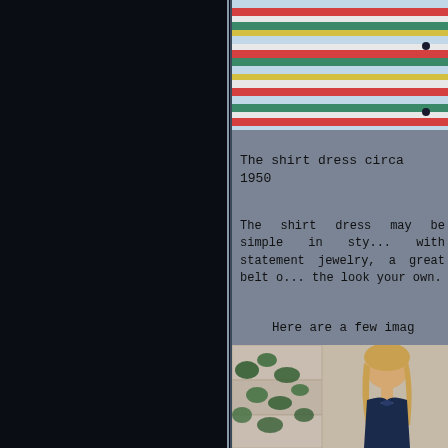[Figure (photo): Close-up of striped fabric shirt dress circa 1950 with colored horizontal stripes (blue, red, white, teal, yellow) and dark navy buttons visible]
The shirt dress circa 1950
The shirt dress may be simple in style, with statement jewelry, a great belt or the look your own.
Here are a few imag
[Figure (photo): Woman with blonde hair wearing a navy shirt dress, standing in front of a stone wall with ivy/vines]